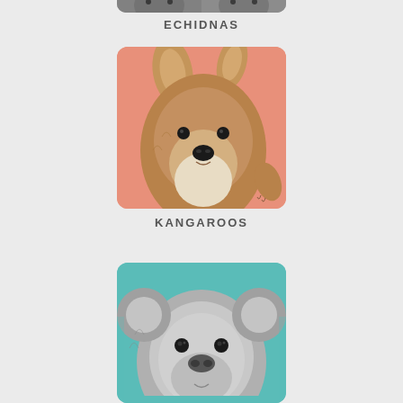[Figure (photo): Partial view of echidna photo at top of page, showing two echidnas close-up, black and white/gray tones]
ECHIDNAS
[Figure (photo): Close-up photo of a kangaroo stuffed animal or real kangaroo face and upper body against a coral/salmon pink background, facing slightly left with one ear raised]
KANGAROOS
[Figure (photo): Close-up photo of a koala face against a teal/turquoise background, fluffy gray fur, dark eyes, prominent nose]